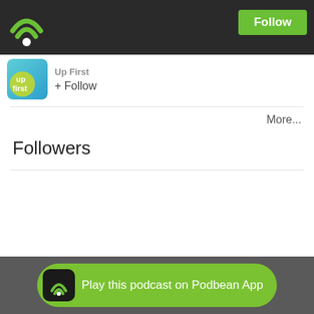[Figure (logo): Podbean WiFi signal logo in green on dark top bar]
Follow
[Figure (logo): Up First podcast circular logo with teal/blue/yellow gradient]
Up First
+ Follow
More...
Followers
Play this podcast on Podbean App